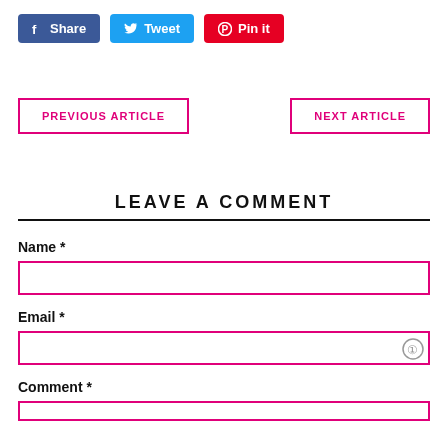[Figure (screenshot): Social share buttons: Facebook Share (blue), Twitter Tweet (cyan), Pinterest Pin it (red)]
PREVIOUS ARTICLE
NEXT ARTICLE
LEAVE A COMMENT
Name *
Email *
Comment *